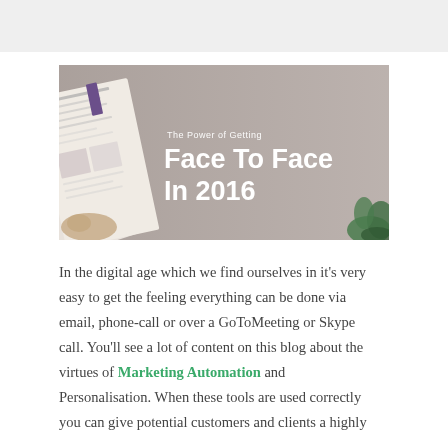[Figure (photo): Banner image with text overlay reading 'The Power of Getting Face To Face In 2016'. Background shows a muted gray-brown photo of someone holding a newspaper/book. A green plant is visible in the bottom right. White bold text dominates the center-right.]
In the digital age which we find ourselves in it's very easy to get the feeling everything can be done via email, phone-call or over a GoToMeeting or Skype call. You'll see a lot of content on this blog about the virtues of Marketing Automation and Personalisation. When these tools are used correctly you can give potential customers and clients a highly